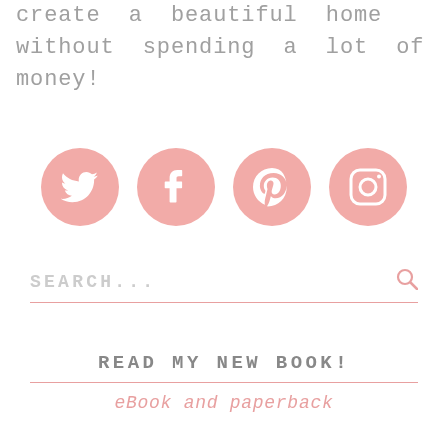create a beautiful home without spending a lot of money!
[Figure (infographic): Four pink circular social media icons: Twitter bird, Facebook f, Pinterest p, Instagram camera]
SEARCH...
READ MY NEW BOOK!
eBook and paperback